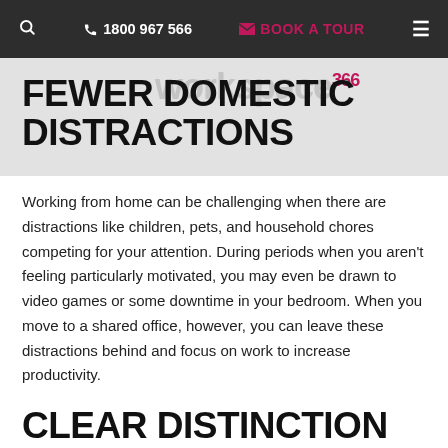🔍   📞 1800 967 566   ✉ BOOK A TOUR   ☰
FEWER DOMESTIC DISTRACTIONS
Working from home can be challenging when there are distractions like children, pets, and household chores competing for your attention. During periods when you aren't feeling particularly motivated, you may even be drawn to video games or some downtime in your bedroom. When you move to a shared office, however, you can leave these distractions behind and focus on work to increase productivity.
CLEAR DISTINCTION OF YOUR HOME &